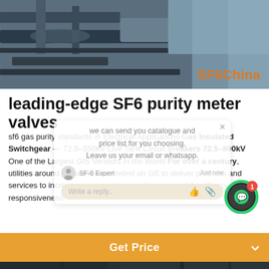[Figure (photo): Industrial equipment photo showing metal pipes/valves structure against a blue sky background, with SF6China logo watermark in orange]
leading-edge SF6 purity meter valves
sf6 gas purity standards in Electrical Applications Gas Insulated Switchgear — 72.5–550kV Live Tank Circuit Breakers 72.5–800kV One of the Largest GIS Vendors in the World For over a century, utilities around the world have relied on GE to deliver products and services to increase power system, and improve grid resiliency and responsiveness.
[Figure (screenshot): Chat popup overlay showing SF6 Expert chat interface with messages: we can send you catalogue and price list for you choosing. Leave us your email or whatsapp. Write a reply input field with thumbs up and paperclip icons.]
[Figure (photo): Bottom section showing industrial electrical infrastructure photo with Leave Message and Chat Online buttons, and a customer service avatar in center]